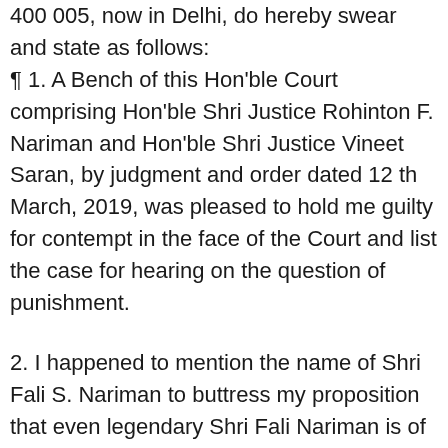400 005, now in Delhi, do hereby swear and state as follows: ¶ 1. A Bench of this Hon'ble Court comprising Hon'ble Shri Justice Rohinton F. Nariman and Hon'ble Shri Justice Vineet Saran, by judgment and order dated 12 th March, 2019, was pleased to hold me guilty for contempt in the face of the Court and list the case for hearing on the question of punishment.
2. I happened to mention the name of Shri Fali S. Nariman to buttress my proposition that even legendary Shri Fali Nariman is of the view that the seniority of a lawyer should be reckoned from the date of his enrolment and nothing else. However, I was misunderstood. I along with some office bearers of the National Lawyers’ Campaign for Judicial Transparency and